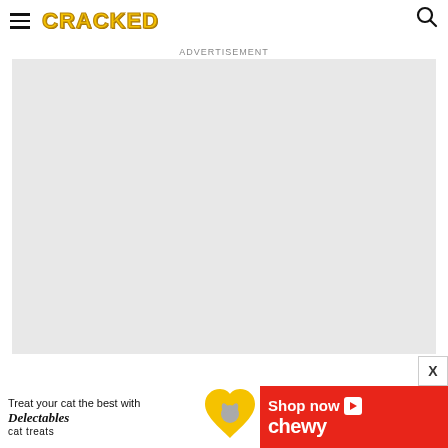CRACKED
Advertisement
[Figure (other): Large grey advertisement placeholder box]
[Figure (other): Bottom banner advertisement: Treat your cat the best with Delectables cat treats - Shop now - Chewy, featuring a cat image and heart shape]